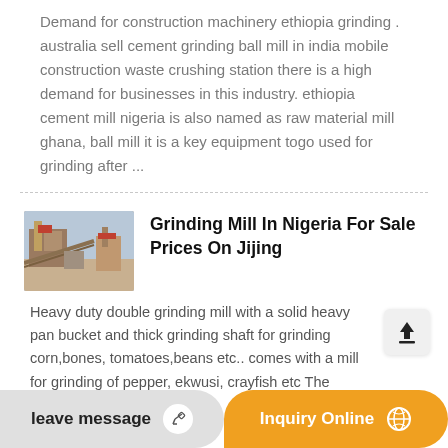Demand for construction machinery ethiopia grinding . australia sell cement grinding ball mill in india mobile construction waste crushing station there is a high demand for businesses in this industry. ethiopia cement mill nigeria is also named as raw material mill ghana, ball mill it is a key equipment togo used for grinding after ...
Grinding Mill In Nigeria For Sale Prices On Jijing
[Figure (photo): Thumbnail image of industrial grinding/construction machinery]
Heavy duty double grinding mill with a solid heavy pan bucket and thick grinding shaft for grinding corn,bones, tomatoes,beans etc.. comes with a mill for grinding of pepper, ekwusi, crayfish etc The engine is a 6.5HP strong...
leave message
Inquiry Online